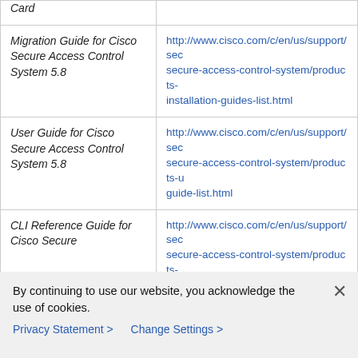| Document | URL |
| --- | --- |
| Card |  |
| Migration Guide for Cisco Secure Access Control System 5.8 | http://www.cisco.com/c/en/us/support/sec secure-access-control-system/products-installation-guides-list.html |
| User Guide for Cisco Secure Access Control System 5.8 | http://www.cisco.com/c/en/us/support/sec secure-access-control-system/products-u guide-list.html |
| CLI Reference Guide for Cisco Secure | http://www.cisco.com/c/en/us/support/sec secure-access-control-system/products-command-reference-list.html |
By continuing to use our website, you acknowledge the use of cookies.
Privacy Statement > Change Settings >